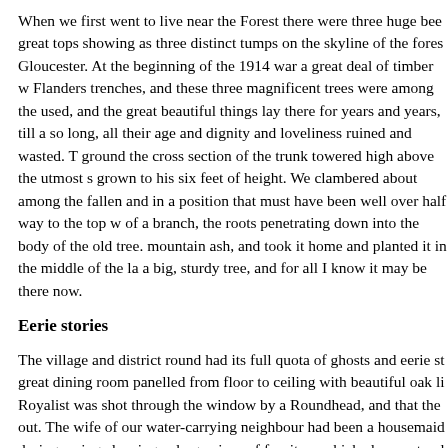When we first went to live near the Forest there were three huge beec great tops showing as three distinct tumps on the skyline of the fores Gloucester. At the beginning of the 1914 war a great deal of timber w Flanders trenches, and these three magnificent trees were among the used, and the great beautiful things lay there for years and years, till a so long, all their age and dignity and loveliness ruined and wasted. T ground the cross section of the trunk towered high above the utmost s grown to his six feet of height. We clambered about among the fallen and in a position that must have been well over half way to the top w of a branch, the roots penetrating down into the body of the old tree. mountain ash, and took it home and planted it in the middle of the la a big, sturdy tree, and for all I know it may be there now.
Eerie stories
The village and district round had its full quota of ghosts and eerie st great dining room panelled from floor to ceiling with beautiful oak li Royalist was shot through the window by a Roundhead, and that the out. The wife of our water-carrying neighbour had been a housemaid during spring cleaning, a large piece of furniture which always stood moved out, and that she had actually seen the stains.
Another story about the Hall was that a ghostly gardener was frequer unceasingly sweeping up the leaves and May set the village by the ea